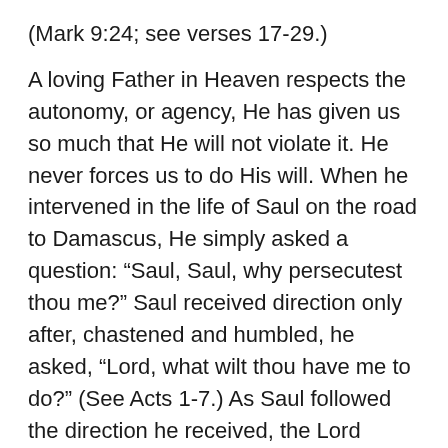(Mark 9:24; see verses 17-29.)
A loving Father in Heaven respects the autonomy, or agency, He has given us so much that He will not violate it. He never forces us to do His will. When he intervened in the life of Saul on the road to Damascus, He simply asked a question: “Saul, Saul, why persecutest thou me?” Saul received direction only after, chastened and humbled, he asked, “Lord, what wilt thou have me to do?” (See Acts 1-7.) As Saul followed the direction he received, the Lord turned him into a great prophet and teacher.
In ancient America, a young man named Alma spent his time trying to destroy Christ’s church organized among his people. As he was going about this work, an angel appeared to him to ask, “Why persecutest thou the church of God?” Alma was admonished to remember the Lord’s